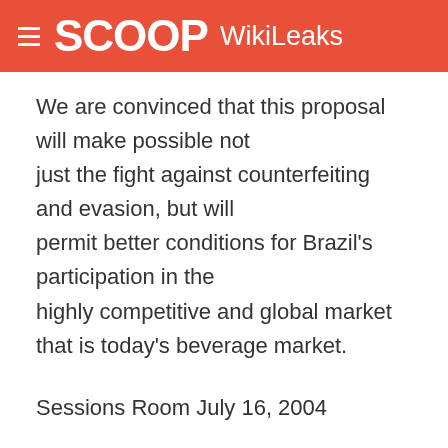SCOOP WikiLeaks
We are convinced that this proposal will make possible not just the fight against counterfeiting and evasion, but will permit better conditions for Brazil's participation in the highly competitive and global market that is today's beverage market.
Sessions Room July 16, 2004
Deputy Medeiros, President
Deputy Josias Quintal, Reporter